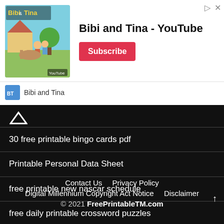[Figure (screenshot): Bibi and Tina YouTube channel advertisement banner with thumbnail image, title 'Bibi and Tina - YouTube', Subscribe button, and channel row]
30 free printable bingo cards pdf
Printable Personal Data Sheet
free printable new nascar schedule
free daily printable crossword puzzles
last year schedule
Printable Bingo Tickets
Contact Us   Privacy Policy   Digital Millennium Copyright Act Notice   Disclaimer   © 2021 FreePrintableTM.com